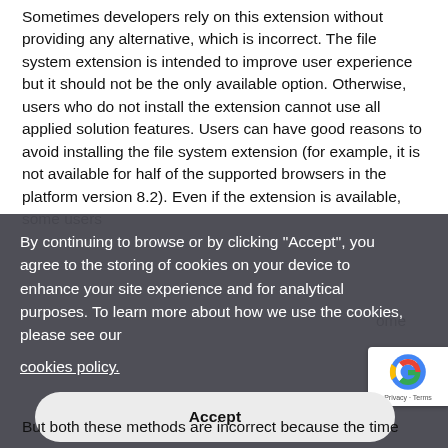Sometimes developers rely on this extension without providing any alternative, which is incorrect. The file system extension is intended to improve user experience but it should not be the only available option. Otherwise, users who do not install the extension cannot use all applied solution features. Users can have good reasons to avoid installing the file system extension (for example, it is not available for half of the supported browsers in the platform version 8.2). Even if the extension is available, some users
[Figure (screenshot): Cookie consent modal overlay with dark background. Text reads: 'By continuing to browse or by clicking "Accept", you agree to the storing of cookies on your device to enhance your site experience and for analytical purposes. To learn more about how we use the cookies, please see our cookies policy.' followed by an Accept button. A reCAPTCHA badge is visible in the lower right corner.]
But both these methods are incorrect because the time